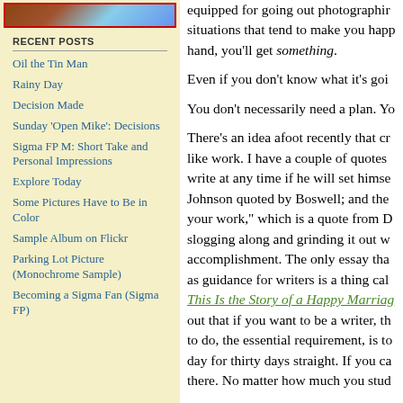[Figure (photo): Partial photo image at top of left sidebar with red border, showing partial view of a figure]
RECENT POSTS
Oil the Tin Man
Rainy Day
Decision Made
Sunday 'Open Mike': Decisions
Sigma FP M: Short Take and Personal Impressions
Explore Today
Some Pictures Have to Be in Color
Sample Album on Flickr
Parking Lot Picture (Monochrome Sample)
Becoming a Sigma Fan (Sigma FP)
equipped for going out photographing situations that tend to make you happy. hand, you'll get something. Even if you don't know what it's going. You don't necessarily need a plan. There's an idea afoot recently that cr like work. I have a couple of quotes write at any time if he will set himself Johnson quoted by Boswell; and the your work," which is a quote from D slogging along and grinding it out w accomplishment. The only essay tha as guidance for writers is a thing called This Is the Story of a Happy Marriage out that if you want to be a writer, th to do, the essential requirement, is to day for thirty days straight. If you ca there. No matter how much you stud